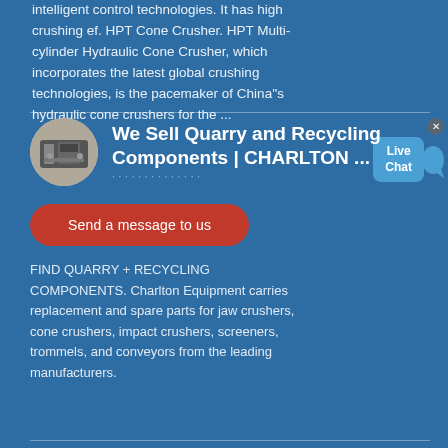intelligent control technologies. It has high crushing ef. HPT Cone Crusher. HPT Multi-cylinder Hydraulic Cone Crusher, which incorporates the latest global crushing technologies, is the pacemaker of China''s hydraulic cone crushers for the ...
[Figure (photo): Circular thumbnail photo of a jaw crusher / quarry machine, gray-brown tones]
We Sell Quarry and Recycling Components | CHARLTON ...
[Figure (infographic): Live Chat speech bubble widget with blue background and white text reading 'Live Chat', with chat bubble tail]
Send a message to us
FIND QUARRY + RECYCLING COMPONENTS. Charlton Equipment carries replacement and spare parts for jaw crushers, cone crushers, impact crushers, screeners, trommels, and conveyors from the leading manufacturers.